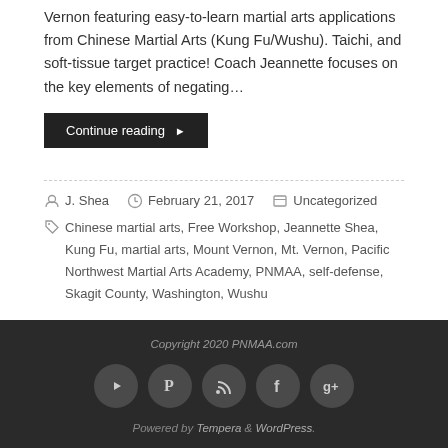Vernon featuring easy-to-learn martial arts applications from Chinese Martial Arts (Kung Fu/Wushu). Taichi, and soft-tissue target practice! Coach Jeannette focuses on the key elements of negating…
Continue reading ▶
J. Shea  February 21, 2017  Uncategorized
Chinese martial arts, Free Workshop, Jeannette Shea, Kung Fu, martial arts, Mount Vernon, Mt. Vernon, Pacific Northwest Martial Arts Academy, PNMAA, self-defense, Skagit County, Washington, Wushu
Copyright 2020 PNMAA.com  Powered by Tempera & WordPress.